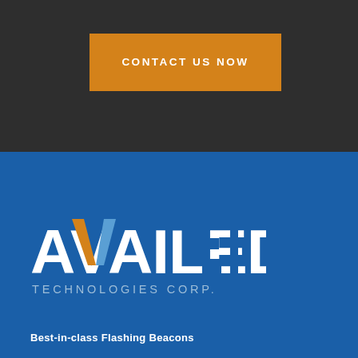[Figure (other): Orange call-to-action button reading CONTACT US NOW on a dark charcoal background]
[Figure (logo): Availed Technologies Corp. logo on a blue background — stylized text AVAILED with orange and steel-blue accents, subtitle TECHNOLOGIES CORP.]
Best-in-class Flashing Beacons